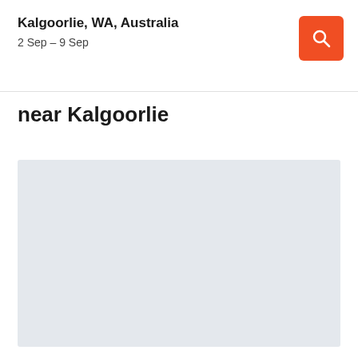Kalgoorlie, WA, Australia
2 Sep – 9 Sep
near Kalgoorlie
[Figure (map): Greyed out map area placeholder showing the region near Kalgoorlie, WA, Australia]